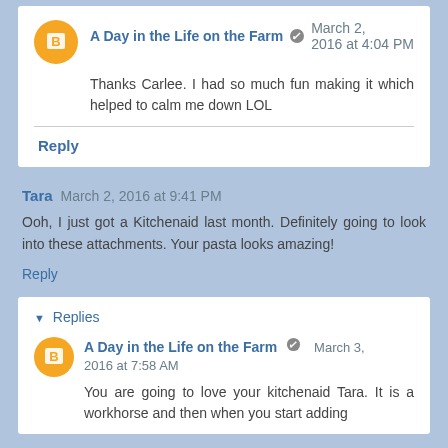A Day in the Life on the Farm — March 2, 2016 at 4:04 PM
Thanks Carlee. I had so much fun making it which helped to calm me down LOL
Reply
Tara March 2, 2016 at 9:41 PM
Ooh, I just got a Kitchenaid last month. Definitely going to look into these attachments. Your pasta looks amazing!
Reply
Replies
A Day in the Life on the Farm — March 3, 2016 at 7:58 AM
You are going to love your kitchenaid Tara. It is a workhorse and then when you start adding attachments you add to that even more.